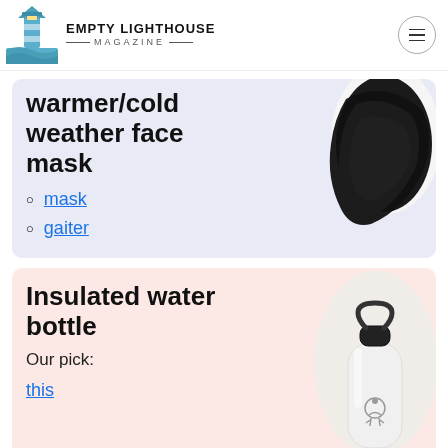EMPTY LIGHTHOUSE MAGAZINE
warmer/cold weather face mask
mask
gaiter
Insulated water bottle
Our pick:
this